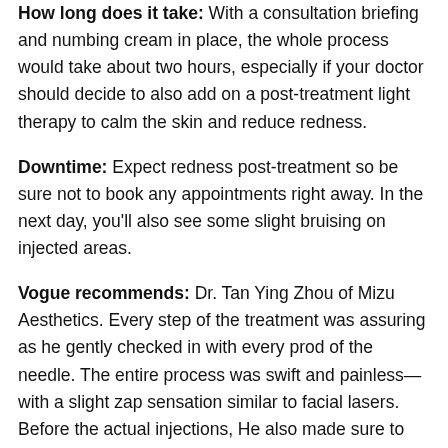How long does it take: With a consultation briefing and numbing cream in place, the whole process would take about two hours, especially if your doctor should decide to also add on a post-treatment light therapy to calm the skin and reduce redness.
Downtime: Expect redness post-treatment so be sure not to book any appointments right away. In the next day, you'll also see some slight bruising on injected areas.
Vogue recommends: Dr. Tan Ying Zhou of Mizu Aesthetics. Every step of the treatment was assuring as he gently checked in with every prod of the needle. The entire process was swift and painless—with a slight zap sensation similar to facial lasers. Before the actual injections, He also made sure to reiterate the after-effects of the treatment and explained what skinboosters essentially are. The bruises barely lasted for a day following the treatment, and after they eased, my